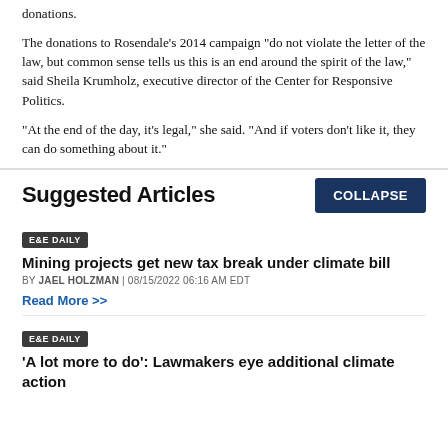donations.
The donations to Rosendale's 2014 campaign "do not violate the letter of the law, but common sense tells us this is an end around the spirit of the law," said Sheila Krumholz, executive director of the Center for Responsive Politics.
"At the end of the day, it's legal," she said. "And if voters don't like it, they can do something about it."
Suggested Articles
E&E DAILY
Mining projects get new tax break under climate bill
BY Jael Holzman | 08/15/2022 06:16 AM EDT
Read More >>
E&E DAILY
'A lot more to do': Lawmakers eye additional climate action